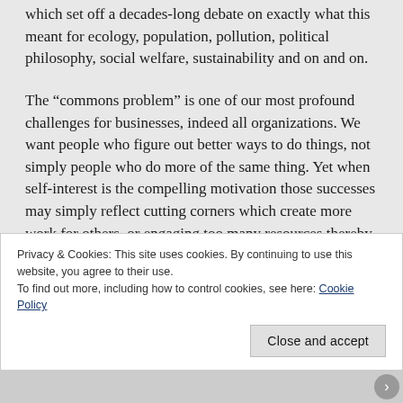which set off a decades-long debate on exactly what this meant for ecology, population, pollution, political philosophy, social welfare, sustainability and on and on.
The “commons problem” is one of our most profound challenges for businesses, indeed all organizations. We want people who figure out better ways to do things, not simply people who do more of the same thing. Yet when self-interest is the compelling motivation those successes may simply reflect cutting corners which create more work for others, or engaging too many resources thereby depriving them from their peers.
Privacy & Cookies: This site uses cookies. By continuing to use this website, you agree to their use.
To find out more, including how to control cookies, see here: Cookie Policy
Close and accept